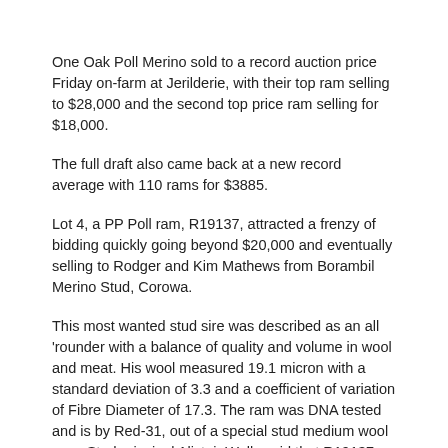One Oak Poll Merino sold to a record auction price Friday on-farm at Jerilderie, with their top ram selling to $28,000 and the second top price ram selling for $18,000.
The full draft also came back at a new record average with 110 rams for $3885.
Lot 4, a PP Poll ram, R19137, attracted a frenzy of bidding quickly going beyond $20,000 and eventually selling to Rodger and Kim Mathews from Borambil Merino Stud, Corowa.
This most wanted stud sire was described as an all 'rounder with a balance of quality and volume in wool and meat. His wool measured 19.1 micron with a standard deviation of 3.3 and a coefficient of variation of Fibre Diameter of 17.3. The ram was DNA tested and is by Red-31, out of a special stud medium wool ewe. Stud principal Alistair Wells said that R19137 had a balance of meat and wool that will breed on and exhibited a level of comfort factor that reflected the stud's ambitions. This ram is plain bodied with increased body weight and long staple wool, Mr Wells said.
Lot 8, R19198 by R-45 a full ET brother to R1937, sold for $18,000 or $3000 above last year's top bid, going to Michael Green from Boudjah Merino Stud, Cooma.